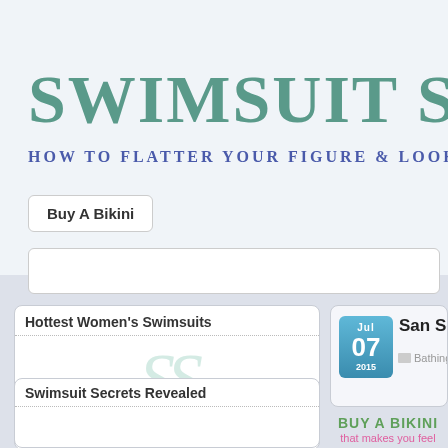SWIMSUIT SECRE
HOW TO FLATTER YOUR FIGURE & LOOK HOT IN A SWIMS
Buy A Bikini
Hottest Women's Swimsuits
[Figure (logo): SS cursive logo watermark in light teal]
Swimsuit Secrets Revealed
Jul 07 2015
San Seb
Bathing Suit t
BUY A BIKINI
that makes you feel